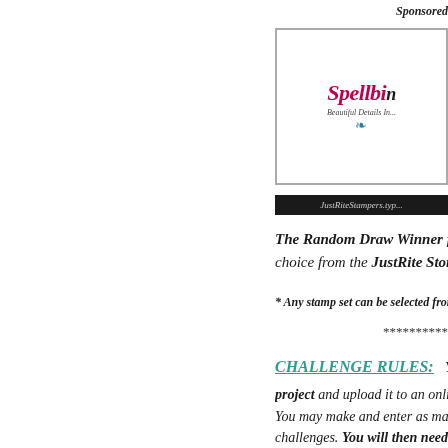[Figure (other): Spellbinders sponsor logo box with ornamental design, italic script logotype in pink/red, subtitle text, and dark footer bar with JustRiteStampers.typ... URL]
The Random Draw Winner for JRC... choice from the JustRite Store.
* Any stamp set can be selected from items...
*********
CHALLENGE RULES:  You will n... project and upload it to an online bl... You may make and enter as many di... challenges. You will then need to lin... blog post, using the linking system o... certain your link is directly to your p... home page or overall photo gallery,...